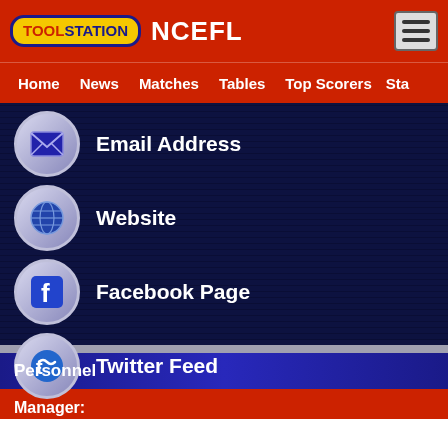TOOLSTATION NCEFL
Home  News  Matches  Tables  Top Scorers  Sta
Email Address
Website
Facebook Page
Twitter Feed
Personnel
Manager: